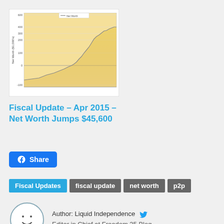[Figure (continuous-plot): Line/area chart showing Net Worth ($1,000s) over time, rising from negative values to approximately 400-500 range. Y-axis labeled 'Net Worth ($1,000s)', values from -100 to 600. Golden/tan shaded area fill beneath the line.]
Fiscal Update – Apr 2015 – Net Worth Jumps $45,600
[Figure (other): Facebook Share button - blue rounded rectangle with Facebook logo icon and text 'Share']
Fiscal Updates
fiscal update
net worth
p2p
[Figure (illustration): Circular avatar icon with a simple smiley face and text 'Liquid' below, outlined in blue-gray]
Author: Liquid Independence  Editor in Chief at Freedom 35 Blog.